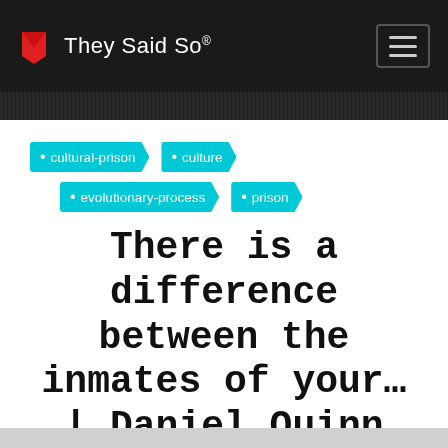They Said So®
cultural-prison
culture
evolutionary-process
prison
There is a difference between the inmates of your… | Daniel Quinn